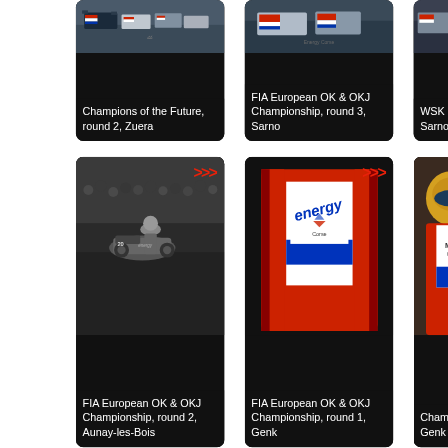[Figure (photo): Top-left card: karting race photo, color, multiple karts on track. Caption: Champions of the Future, round 2, Zuera]
Champions of the Future, round 2, Zuera
[Figure (photo): Top-middle card: karting race photo, color, karts on track with Energy branding. Caption: FIA European OK & OKJ Championship, round 3, Sarno]
FIA European OK & OKJ Championship, round 3, Sarno
[Figure (photo): Top-right card: partially visible karting photo. Caption: WSK Sarno]
WSK Sarno
[Figure (photo): Bottom-left card: black and white karting crash/incident photo with crowd, chevron arrow. Caption: FIA European OK & OKJ Championship, round 2, Aunay-les-Bois]
FIA European OK & OKJ Championship, round 2, Aunay-les-Bois
[Figure (photo): Bottom-middle card: close-up of Energy Corse racing suit/jacket, chevron arrow. Caption: FIA European OK & OKJ Championship, round 1, Genk]
FIA European OK & OKJ Championship, round 1, Genk
[Figure (photo): Bottom-right card: partially visible color photo of driver in helmet. Caption: Champ... Genk]
Champ Genk